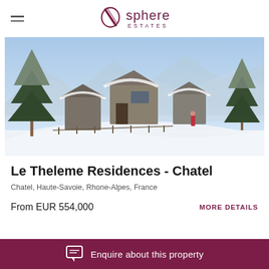sphere ESTATES
[Figure (photo): Winter mountain chalet residences covered in snow with pine trees and ski slope in foreground]
Le Theleme Residences - Chatel
Chatel, Haute-Savoie, Rhone-Alpes, France
From EUR 554,000
MORE DETAILS
Enquire about this property